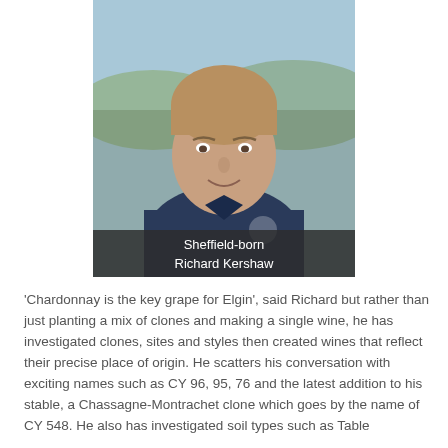[Figure (photo): Photograph of Sheffield-born Richard Kershaw, a middle-aged man in a navy polo shirt, photographed outdoors with hills and countryside visible in the background. A semi-transparent dark caption bar overlays the bottom of the photo with his name.]
Sheffield-born Richard Kershaw
'Chardonnay is the key grape for Elgin', said Richard but rather than just planting a mix of clones and making a single wine, he has investigated clones, sites and styles then created wines that reflect their precise place of origin. He scatters his conversation with exciting names such as CY 96, 95, 76 and the latest addition to his stable, a Chassagne-Montrachet clone which goes by the name of CY 548. He also has investigated soil types such as Table